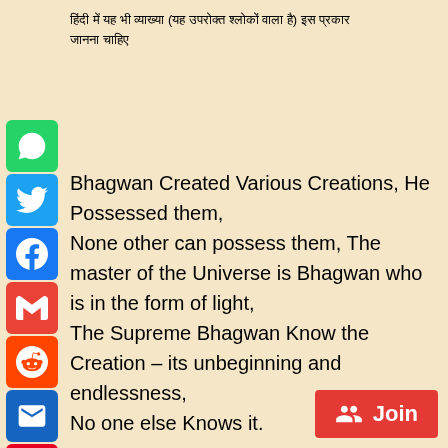हिंदी में यह भी व्याख्या (यह उपरोक्त श्लोकों वाला है) इस प्रकार जानना चाहिए
Bhagwan Created Various Creations, He Possessed them, None other can possess them, The master of the Universe is Bhagwan who is in the form of light, The Supreme Bhagwan Know the Creation – its unbeginning and endlessness, No one else Knows it.
[Figure (other): Social media sharing buttons: WhatsApp, Twitter, Facebook, Gmail, Reddit, Email, Pinterest, Tumblr, LinkedIn, More (+)]
[Figure (other): Red Join button with people icon]